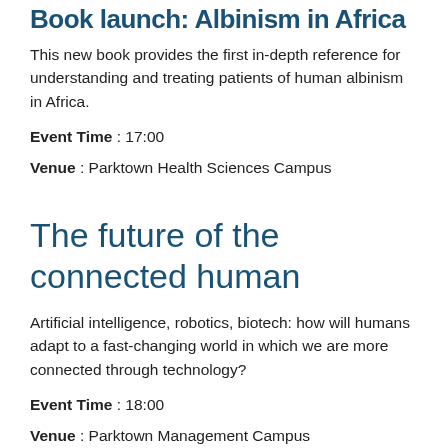Book launch: Albinism in Africa
This new book provides the first in-depth reference for understanding and treating patients of human albinism in Africa.
Event Time : 17:00
Venue : Parktown Health Sciences Campus
The future of the connected human
Artificial intelligence, robotics, biotech: how will humans adapt to a fast-changing world in which we are more connected through technology?
Event Time : 18:00
Venue : Parktown Management Campus